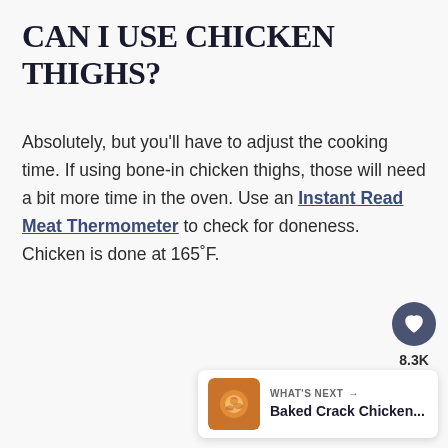CAN I USE CHICKEN THIGHS?
Absolutely, but you'll have to adjust the cooking time. If using bone-in chicken thighs, those will need a bit more time in the oven. Use an Instant Read Meat Thermometer to check for doneness. Chicken is done at 165˚F.
[Figure (other): Social interaction buttons: heart/like button with count 8.3K and share button]
[Figure (other): What's Next card showing Baked Crack Chicken... with thumbnail image]